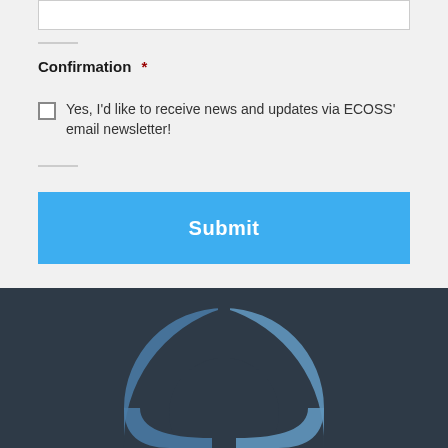[Figure (screenshot): Input text field (partially visible at top)]
Confirmation *
Yes, I'd like to receive news and updates via ECOSS' email newsletter!
Submit
[Figure (logo): ECOSS logo — circular arc shape in steel blue on dark navy background]